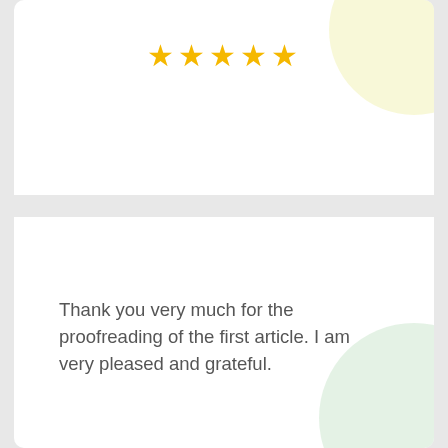[Figure (other): Five gold star rating icons in a row, top card]
Thank you very much for the proofreading of the first article. I am very pleased and grateful.
Paweł
[Figure (other): Five gold star rating icons in a row, bottom card]